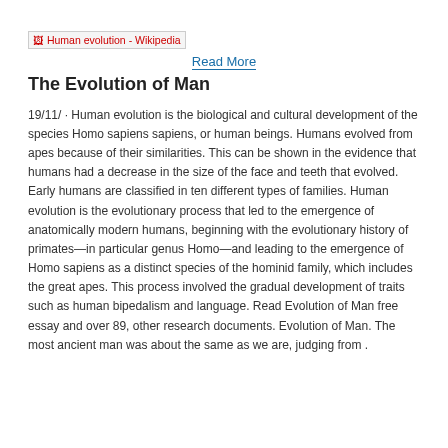[Figure (other): Broken image placeholder labeled 'Human evolution - Wikipedia' shown as a red-text broken image icon with dotted red underline link]
Read More
The Evolution of Man
19/11/ · Human evolution is the biological and cultural development of the species Homo sapiens sapiens, or human beings. Humans evolved from apes because of their similarities. This can be shown in the evidence that humans had a decrease in the size of the face and teeth that evolved. Early humans are classified in ten different types of families. Human evolution is the evolutionary process that led to the emergence of anatomically modern humans, beginning with the evolutionary history of primates—in particular genus Homo—and leading to the emergence of Homo sapiens as a distinct species of the hominid family, which includes the great apes. This process involved the gradual development of traits such as human bipedalism and language. Read Evolution of Man free essay and over 89, other research documents. Evolution of Man. The most ancient man was about the same as we are, judging from .